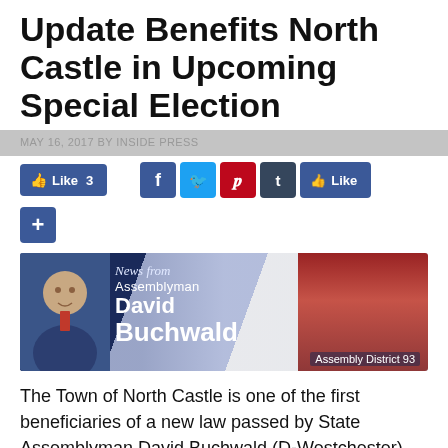Update Benefits North Castle in Upcoming Special Election
MAY 16, 2017 BY INSIDE PRESS
[Figure (screenshot): Social media sharing buttons: Facebook Like (3), Facebook, Twitter, Pinterest, Tumblr, Like, and a plus/more button]
[Figure (photo): News from Assemblyman David Buchwald banner with photo of David Buchwald and Assembly District 93 label]
The Town of North Castle is one of the first beneficiaries of a new law passed by State Assemblyman David Buchwald (D-Westchester) that